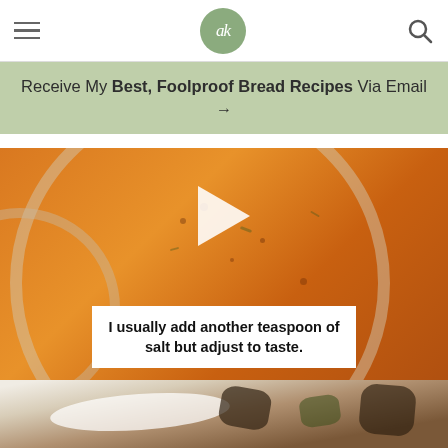ak (logo) — navigation header with hamburger menu and search icon
Receive My Best, Foolproof Bread Recipes Via Email →
[Figure (screenshot): Close-up overhead video still of orange/golden soup in glass jars. A white play button triangle is visible near the top center. A white text overlay box at the bottom reads: I usually add another teaspoon of salt but adjust to taste.]
[Figure (photo): Partially visible food photo at the bottom of the page showing what appears to be roasted or cooked vegetables in a dish, with a white creamy element visible.]